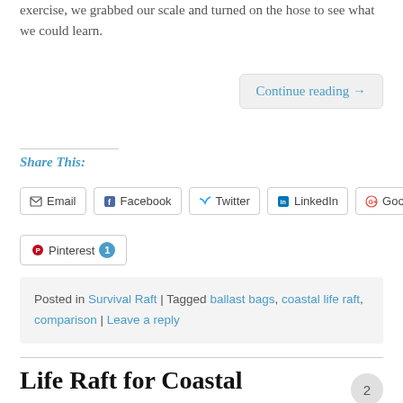exercise, we grabbed our scale and turned on the hose to see what we could learn.
Continue reading →
Share This:
Email
Facebook
Twitter
LinkedIn
Google
Pinterest 1
Posted in Survival Raft | Tagged ballast bags, coastal life raft, comparison | Leave a reply
Life Raft for Coastal